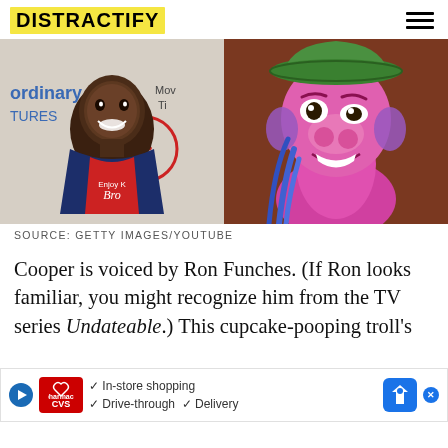DISTRACTIFY
[Figure (photo): Left: A smiling Black man wearing a red shirt and navy blazer at an event with a branded backdrop reading 'ordinary TURES' and 'SM WORKS'. Right: An animated pink troll character with blue hair and a green hat from the movie Trolls.]
SOURCE: GETTY IMAGES/YOUTUBE
Cooper is voiced by Ron Funches. (If Ron looks familiar, you might recognize him from the TV series Undateable.) This cupcake-pooping troll's four-legged physique always seeme[d different from his peers and...